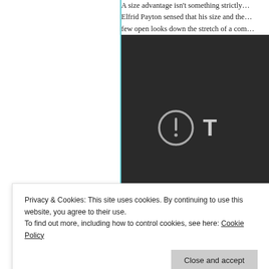A size advantage isn't something strictly... Elfrid Payton sensed that his size and the... few open looks down the stretch of a com...
[Figure (screenshot): Dark media player block with a circular exclamation-mark error icon in grey and a large letter T, indicating an unavailable or blocked video.]
above, MKG's showed the ability to stan-d-...
Privacy & Cookies: This site uses cookies. By continuing to use this website, you agree to their use.
To find out more, including how to control cookies, see here: Cookie Policy
Close and accept